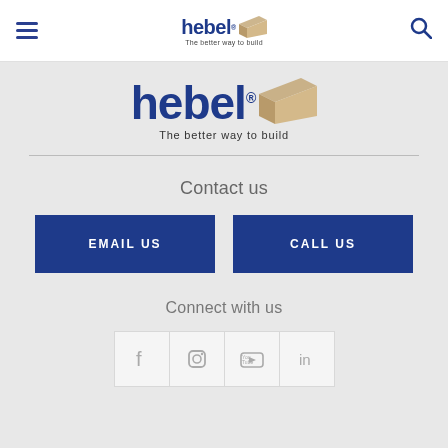Hebel – The better way to build (navigation bar with hamburger menu and search icon)
[Figure (logo): Hebel logo with block graphic and tagline 'The better way to build']
Contact us
EMAIL US
CALL US
Connect with us
[Figure (infographic): Social media icons: Facebook, Instagram, YouTube, LinkedIn]